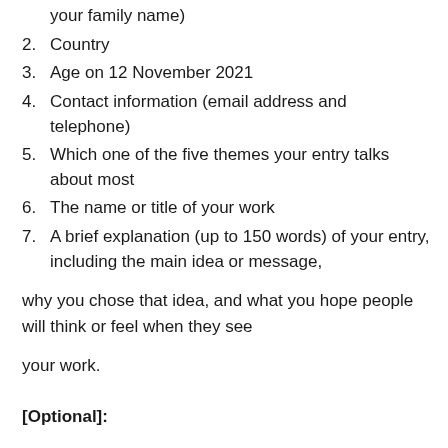your family name)
2. Country
3. Age on 12 November 2021
4. Contact information (email address and telephone)
5. Which one of the five themes your entry talks about most
6. The name or title of your work
7. A brief explanation (up to 150 words) of your entry, including the main idea or message,
why you chose that idea, and what you hope people will think or feel when they see
your work.
[Optional]: